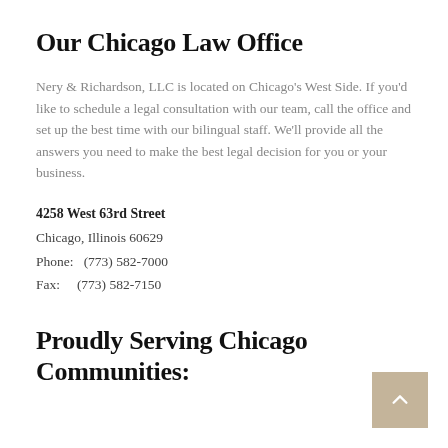Our Chicago Law Office
Nery & Richardson, LLC is located on Chicago's West Side. If you'd like to schedule a legal consultation with our team, call the office and set up the best time with our bilingual staff. We'll provide all the answers you need to make the best legal decision for you or your business.
4258 West 63rd Street
Chicago, Illinois 60629
Phone:   (773) 582-7000
Fax:     (773) 582-7150
Proudly Serving Chicago Communities:
[Figure (other): Tan/beige scroll-to-top button with upward arrow icon, positioned bottom-right]